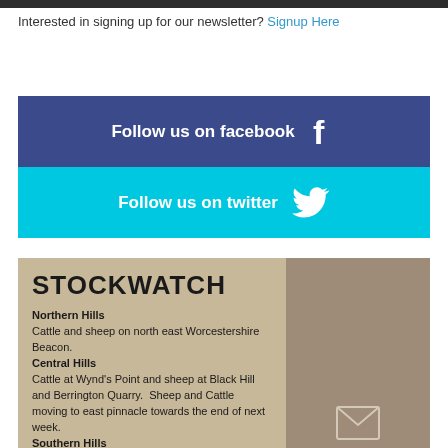Interested in signing up for our newsletter? Signup Here
[Figure (infographic): Dark blue banner with text 'Follow us on facebook' and Facebook 'f' icon in white]
[Figure (infographic): Cyan/turquoise banner with text 'Follow us on twitter' and Twitter bird icon in white]
STOCKWATCH
Northern Hills
Cattle and sheep on north east Worcestershire Beacon.
Central Hills
Cattle at Wynd's Point and sheep at Black Hill and Berrington Quarry. Sheep and Cattle moving to east pinnacle towards the end of next week.
Southern Hills